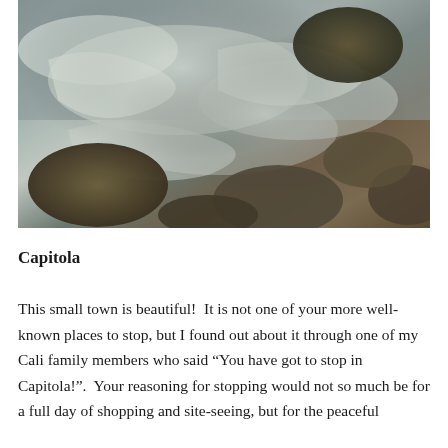[Figure (photo): Aerial/close-up view of ocean waves washing over rocks on a beach, showing foamy white surf against sandy brown and dark rocky terrain.]
Capitola
This small town is beautiful!  It is not one of your more well-known places to stop, but I found out about it through one of my Cali family members who said “You have got to stop in Capitola!”.  Your reasoning for stopping would not so much be for a full day of shopping and site-seeing, but for the peaceful